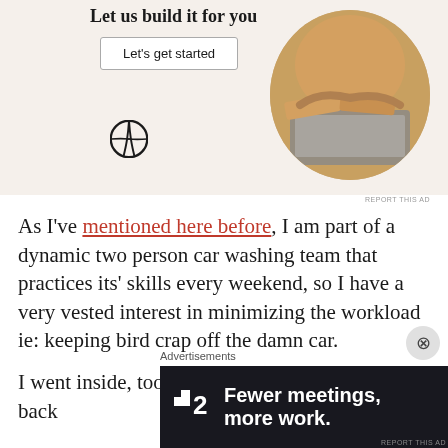[Figure (infographic): WordPress advertisement banner with 'Let us build it for you' headline, 'Let's get started' button, WordPress logo, and circular photo of hands typing on a laptop]
As I've mentioned here before, I am part of a dynamic two person car washing team that practices its' skills every weekend, so I have a very vested interest in minimizing the workload ie: keeping bird crap off the damn car.
I went inside, took a shower and came back
Advertisements
[Figure (infographic): Dark advertisement banner: P2 logo with text 'Fewer meetings, more work.']